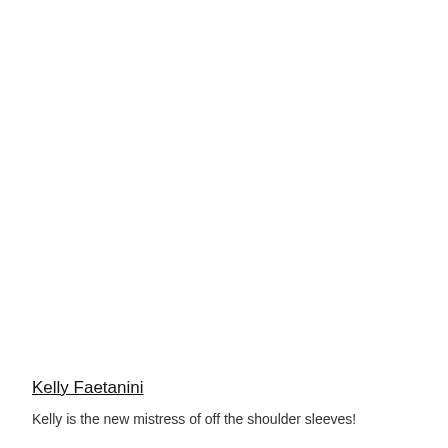Kelly Faetanini
Kelly is the new mistress of off the shoulder sleeves!